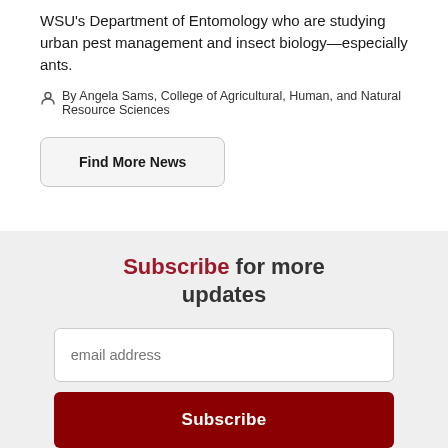WSU's Department of Entomology who are studying urban pest management and insect biology—especially ants.
By Angela Sams, College of Agricultural, Human, and Natural Resource Sciences
Find More News
Subscribe for more updates
email address
Subscribe